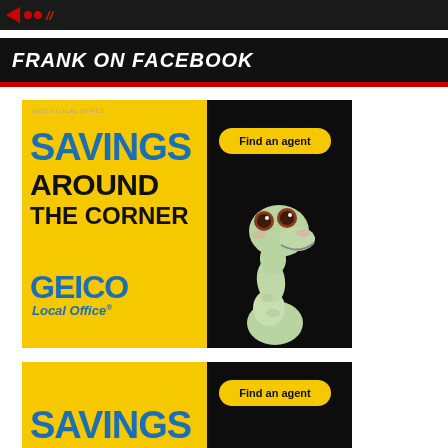[Figure (screenshot): Dark top banner with red triangle and dots logo]
FRANK ON FACEBOOK
[Figure (advertisement): GEICO Local Office advertisement with gecko mascot. Yellow left side reading SAVINGS AROUND THE CORNER, GEICO Local Office logo. Black right side with Find an agent button and gecko image.]
[Figure (advertisement): Second GEICO Local Office advertisement, partially visible, showing SAVINGS text in blue on yellow background and Find an agent button.]